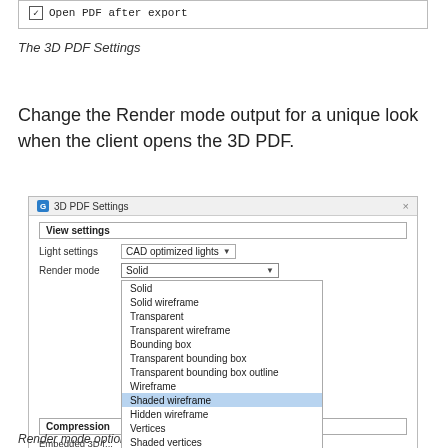[Figure (screenshot): Partial dialog screenshot showing 'Advanced Settings' section with a checked checkbox labeled 'Open PDF after export']
The 3D PDF Settings
Change the Render mode output for a unique look when the client opens the 3D PDF.
[Figure (screenshot): 3D PDF Settings dialog showing View settings section with Light settings dropdown set to 'CAD optimized lights', Render mode dropdown set to 'Solid' with dropdown open showing options: Solid, Solid wireframe, Transparent, Transparent wireframe, Bounding box, Transparent bounding box, Transparent bounding box outline, Wireframe, Shaded wireframe (highlighted), Hidden wireframe, Vertices, Shaded vertices, Illustration, Solid outline, Shaded illustration. Compression section partially visible below.]
Render mode options in 3D PDF Settings